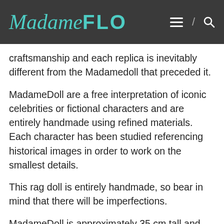MadameFLO
craftsmanship and each replica is inevitably different from the Madamedoll that preceded it.
MadameDoll are a free interpretation of iconic celebrities or fictional characters and are entirely handmade using refined materials. Each character has been studied referencing historical images in order to work on the smallest details.
This rag doll is entirely handmade, so bear in mind that there will be imperfections.
MadameDoll is approximately 35 cm tall and her body is made up of 6 pieces of cool wool fabric, skin-coloured and padded with synthetic wadding, assembled by